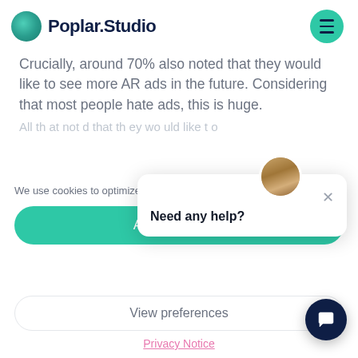Poplar.Studio
Crucially, around 70% also noted that they would like to see more AR ads in the future. Considering that most people hate ads, this is huge.
We use cookies to optimize our website and our service.
Accept cookies
View preferences
Privacy Notice
[Figure (screenshot): Chat popup widget with avatar photo and 'Need any help?' text, with close X button]
[Figure (screenshot): Dark navy circular chat FAB button with speech bubble icon]